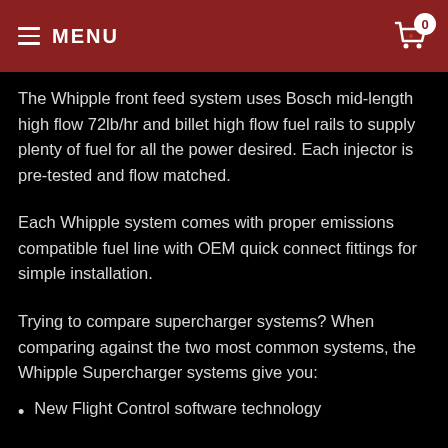MENU
The Whipple front feed system uses Bosch mid-length high flow 72lb/hr and billet high flow fuel rails to supply plenty of fuel for all the power desired. Each injector is pre-tested and flow matched.
Each Whipple system comes with proper emissions compatible fuel line with OEM quick connect fittings for simple installation.
Trying to compare supercharger systems? When comparing against the two most common systems, the Whipple Supercharger systems give you:
New Flight Control software technology